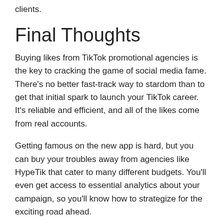clients.
Final Thoughts
Buying likes from TikTok promotional agencies is the key to cracking the game of social media fame. There’s no better fast-track way to stardom than to get that initial spark to launch your TikTok career. It’s reliable and efficient, and all of the likes come from real accounts.
Getting famous on the new app is hard, but you can buy your troubles away from agencies like HypeTik that cater to many different budgets. You’ll even get access to essential analytics about your campaign, so you’ll know how to strategize for the exciting road ahead.
Posted in Small Business Solutions, Sponsored Posts, Tips and Tricks | Leave a reply